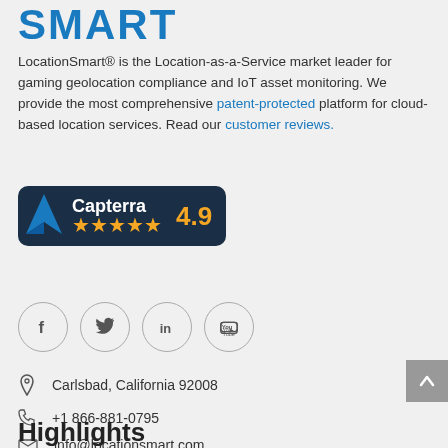SMART
LocationSmart® is the Location-as-a-Service market leader for gaming geolocation compliance and IoT asset monitoring. We provide the most comprehensive patent-protected platform for cloud-based location services. Read our customer reviews.
[Figure (logo): Capterra badge with 4.9 star rating and 5 orange stars on dark navy background]
[Figure (infographic): Social media icons in circles: Facebook, Twitter, LinkedIn, YouTube]
Carlsbad, California 92008
+1 866-881-0795
info@locationsmart.com
Highlights